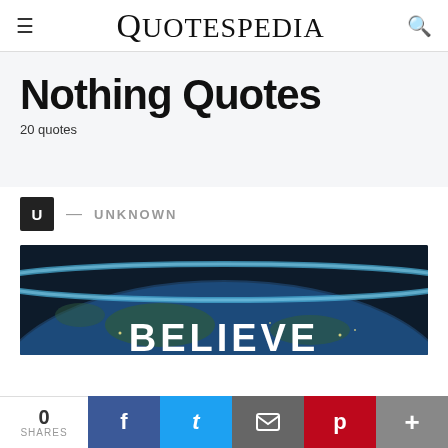QUOTESPEDIA
Nothing Quotes
20 quotes
U — UNKNOWN
[Figure (photo): Earth from space with the word BELIEVE overlaid in large white bold text]
0 SHARES  f  t  (email)  p  +